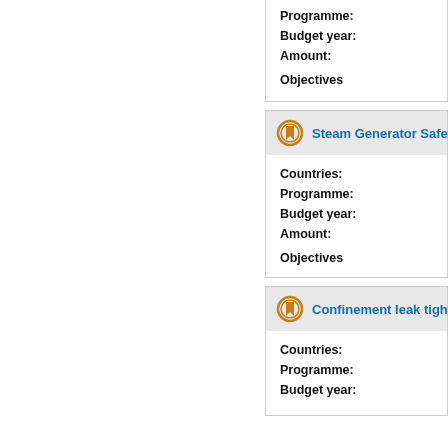Programme:
Budget year:
Amount:

Objectives
Steam Generator Safety va...
Countries:
Programme:
Budget year:
Amount:

Objectives
Confinement leak tightness...
Countries:
Programme:
Budget year: